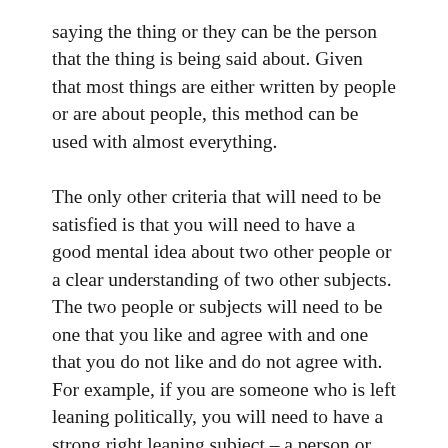saying the thing or they can be the person that the thing is being said about. Given that most things are either written by people or are about people, this method can be used with almost everything.
The only other criteria that will need to be satisfied is that you will need to have a good mental idea about two other people or a clear understanding of two other subjects. The two people or subjects will need to be one that you like and agree with and one that you do not like and do not agree with. For example, if you are someone who is left leaning politically, you will need to have a strong right leaning subject – a person or group and if you are right leaning you